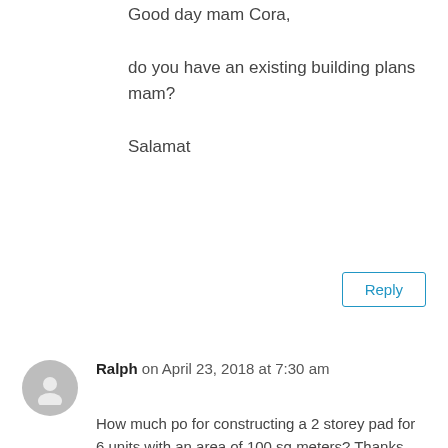Good day mam Cora,

do you have an existing building plans mam?

Salamat
Reply
Ralph on April 23, 2018 at 7:30 am
How much po for constructing a 2 storey pad for 6 units with an area of 100 sq meters? Thanks.
Reply
cdohomebuilders on April 23, 2018 at 11:04 am